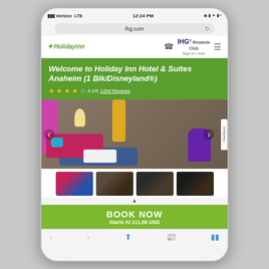[Figure (screenshot): Mobile phone screenshot of IHG Holiday Inn hotel page on ihg.com showing Holiday Inn Hotel & Suites Anaheim (1 Blk/Disneyland®) with 4.2/5 star rating and 1354 Reviews, a room photo with pink sofa and purple chair, thumbnail photos, and a Book Now button starting at 111.98 USD]